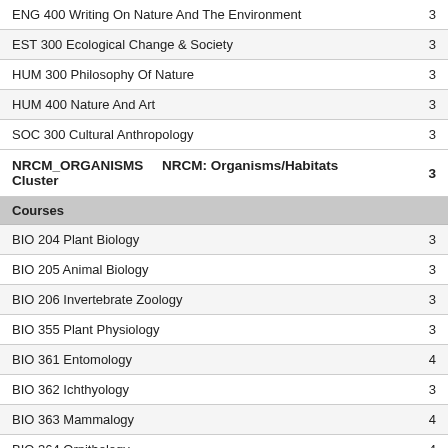| Course | Credits |
| --- | --- |
| ENG 400 Writing On Nature And The Environment | 3 |
| EST 300 Ecological Change & Society | 3 |
| HUM 300 Philosophy Of Nature | 3 |
| HUM 400 Nature And Art | 3 |
| SOC 300 Cultural Anthropology | 3 |
| NRCM_ORGANISMS   NRCM: Organisms/Habitats Cluster | 3 |
| Courses |  |
| BIO 204 Plant Biology | 3 |
| BIO 205 Animal Biology | 3 |
| BIO 206 Invertebrate Zoology | 3 |
| BIO 355 Plant Physiology | 3 |
| BIO 361 Entomology | 4 |
| BIO 362 Ichthyology | 3 |
| BIO 363 Mammalogy | 4 |
| BIO 364 Ornithology | 4 |
| BIO 366 Herpetology | 4 |